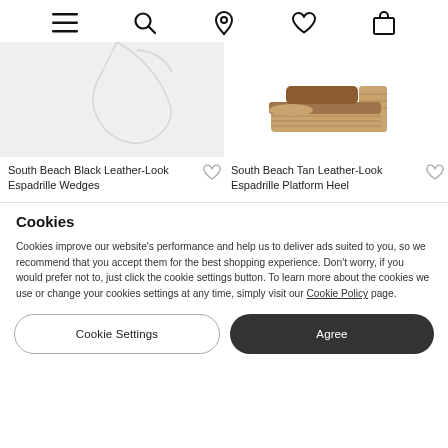Navigation bar with menu, search, location, heart, and bag icons
[Figure (screenshot): Product image placeholder for South Beach Black Leather-Look Espadrille Wedges — grey background with partial shoe visible]
South Beach Black Leather-Look Espadrille Wedges
[Figure (photo): South Beach Tan Leather-Look Espadrille Platform Heel — tan/beige platform wedge mule sandal on white background]
South Beach Tan Leather-Look Espadrille Platform Heel
Cookies
Cookies improve our website's performance and help us to deliver ads suited to you, so we recommend that you accept them for the best shopping experience. Don't worry, if you would prefer not to, just click the cookie settings button. To learn more about the cookies we use or change your cookies settings at any time, simply visit our Cookie Policy page.
Cookie Settings
Agree